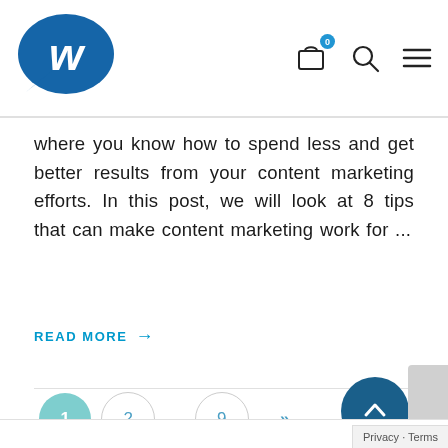Website logo and navigation icons (cart with badge 0, search, menu)
where you know how to spend less and get better results from your content marketing efforts. In this post, we will look at 8 tips that can make content marketing work for ...
READ MORE →
[Figure (other): Pagination bar with page buttons: 1 (active/teal), 2, ..., 9, >> (next), and a scroll-to-top dark blue circular button with up chevron]
Privacy · Terms